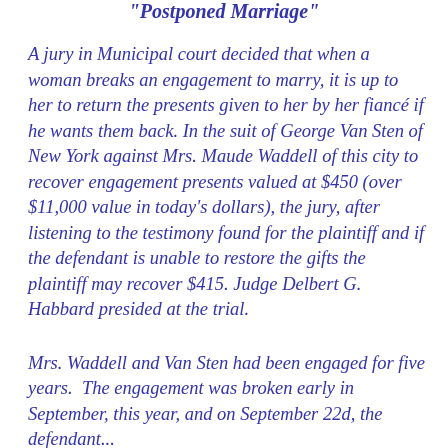"Postponed Marriage"
A jury in Municipal court decided that when a woman breaks an engagement to marry, it is up to her to return the presents given to her by her fiancé if he wants them back. In the suit of George Van Sten of New York against Mrs. Maude Waddell of this city to recover engagement presents valued at $450 (over $11,000 value in today's dollars), the jury, after listening to the testimony found for the plaintiff and if the defendant is unable to restore the gifts the plaintiff may recover $415. Judge Delbert G. Habbard presided at the trial.
Mrs. Waddell and Van Sten had been engaged for five years. The engagement was broken early in September, this year, and on September 22d, the defendant...